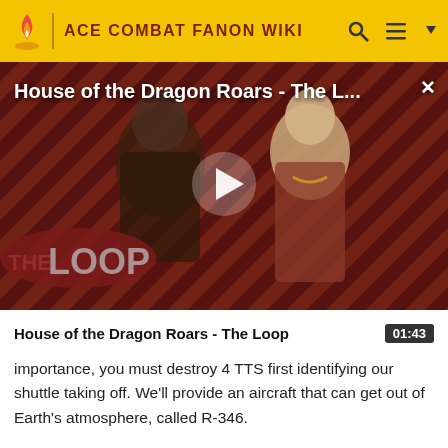ACE COMBAT FANON WIKI
[Figure (screenshot): Video thumbnail for 'House of the Dragon Roars - The L...' showing two characters against a red diagonal striped background with a play button overlay and 'THE LOOP' branding in the lower left. An X close button is in the upper right.]
House of the Dragon Roars - The Loop
importance, you must destroy 4 TTS first identifying our shuttle taking off. We'll provide an aircraft that can get out of Earth's atmosphere, called R-346.